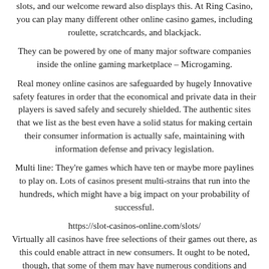slots, and our welcome reward also displays this. At Ring Casino, you can play many different other online casino games, including roulette, scratchcards, and blackjack.
They can be powered by one of many major software companies inside the online gaming marketplace – Microgaming.
Real money online casinos are safeguarded by hugely Innovative safety features in order that the economical and private data in their players is saved safely and securely shielded. The authentic sites that we list as the best even have a solid status for making certain their consumer information is actually safe, maintaining with information defense and privacy legislation.
Multi line: They're games which have ten or maybe more paylines to play on. Lots of casinos present multi-strains that run into the hundreds, which might have a big impact on your probability of successful.
https://slot-casinos-online.com/slots/
Virtually all casinos have free selections of their games out there, as this could enable attract in new consumers. It ought to be noted, though, that some of them may have numerous conditions and terms. Most often, This is able to be as